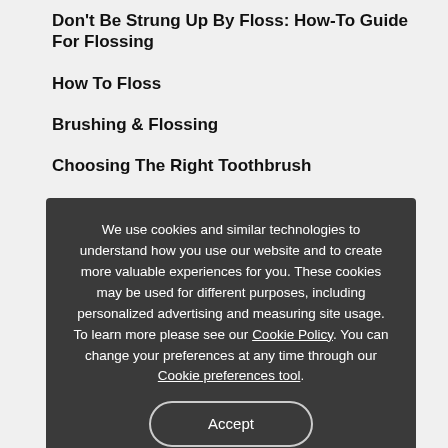Don't Be Strung Up By Floss: How-To Guide For Flossing
How To Floss
Brushing & Flossing
Choosing The Right Toothbrush
How to Brush
9 Home Remedies For Dry Mouth
What is Dental Cottonmouth? | Colgate
How To Stop Grinding Teeth At Night
Bruxism: Signs and Symptoms
Dry Mouth At Night: Causes & Management Tips
Teeth Grinding: How To Stop Grinding Your Teeth at Night!
Bruxism
How Do Dry Mouth Lozenges Work?
We use cookies and similar technologies to understand how you use our website and to create more valuable experiences for you. These cookies may be used for different purposes, including personalized advertising and measuring site usage. To learn more please see our Cookie Policy. You can change your preferences at any time through our Cookie preferences tool.